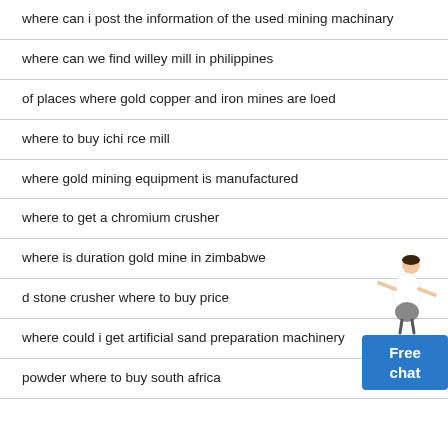where can i post the information of the used mining machinary
where can we find willey mill in philippines
of places where gold copper and iron mines are loed
where to buy ichi rce mill
where gold mining equipment is manufactured
where to get a chromium crusher
where is duration gold mine in zimbabwe
d stone crusher where to buy price
where could i get artificial sand preparation machinery
powder where to buy south africa
[Figure (illustration): Person (woman in white shirt) pointing at a blue 'Free chat' button widget in the bottom-right area of the page]